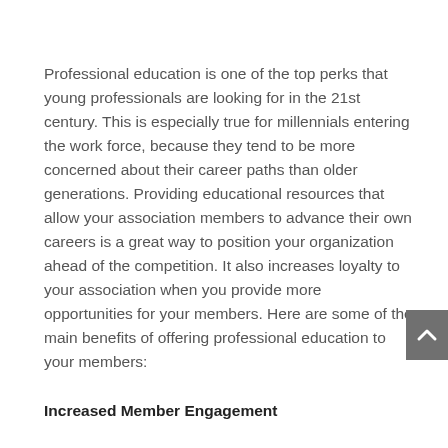Professional education is one of the top perks that young professionals are looking for in the 21st century. This is especially true for millennials entering the work force, because they tend to be more concerned about their career paths than older generations. Providing educational resources that allow your association members to advance their own careers is a great way to position your organization ahead of the competition. It also increases loyalty to your association when you provide more opportunities for your members. Here are some of the main benefits of offering professional education to your members:
Increased Member Engagement